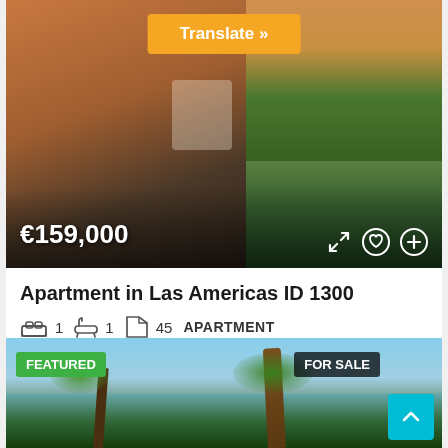[Figure (photo): Real estate listing photo showing apartment balcony/terrace with outdoor furniture and plants, split view with aerial view of residential buildings with red roofs and palm trees]
Translate »
€159,000
Apartment in Las Americas ID 1300
🛏 1  🚿 1  📐 45  APARTMENT
Marat Khasanov
1 year ago
[Figure (photo): Real estate listing photo showing palm trees against blue sky, partial street view]